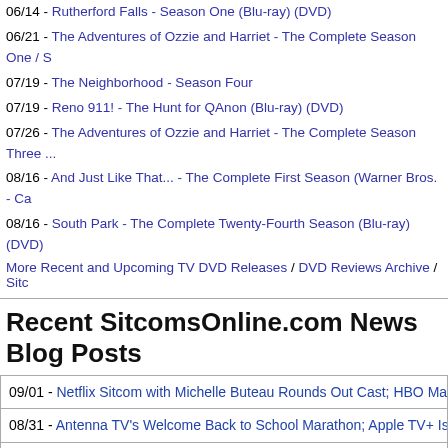06/14 - Rutherford Falls - Season One (Blu-ray) (DVD)
06/21 - The Adventures of Ozzie and Harriet - The Complete Season One / S...
07/19 - The Neighborhood - Season Four
07/19 - Reno 911! - The Hunt for QAnon (Blu-ray) (DVD)
07/26 - The Adventures of Ozzie and Harriet - The Complete Season Three ...
08/16 - And Just Like That... - The Complete First Season (Warner Bros. - Ca...
08/16 - South Park - The Complete Twenty-Fourth Season (Blu-ray) (DVD)
More Recent and Upcoming TV DVD Releases / DVD Reviews Archive / Sitc...
Recent SitcomsOnline.com News Blog Posts
09/01 - Netflix Sitcom with Michelle Buteau Rounds Out Cast; HBO Max Re...
08/31 - Antenna TV's Welcome Back to School Marathon; Apple TV+ Is Tryin...
08/30 - Netflix's Blockbuster Gets Premiere Date; Teri Hatcher Returns to Ha...
08/29 - ABC Fall Preview Special Airs Sept. 14; Acapulco Returns in Octobe...
08/28 - Sitcom Stars on Talk Shows; This Week in Sitcoms (Week of August...
08/27 - SitcomsOnline Digest: NBC Looking to Reduce Primetime Hours; Co...
08/26 - A-List Stars Join Norman Lear 100th Birthday ABC Special; Joe Pes...
08/25 - Disney Renews The Villains of Valley View; Nick Kroll Gets Netflix Sp...
08/24 - Reelz Celebrates 50th Anniversary of M*A*S*H with New Special; H...